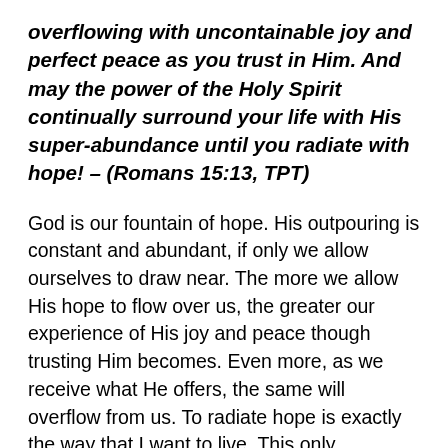overflowing with uncontainable joy and perfect peace as you trust in Him. And may the power of the Holy Spirit continually surround your life with His super-abundance until you radiate with hope! – (Romans 15:13, TPT)
God is our fountain of hope. His outpouring is constant and abundant, if only we allow ourselves to draw near. The more we allow His hope to flow over us, the greater our experience of His joy and peace though trusting Him becomes. Even more, as we receive what He offers, the same will overflow from us. To radiate hope is exactly the way that I want to live. This only transpires through trust in Him. The Holy Spirit in us allows hope